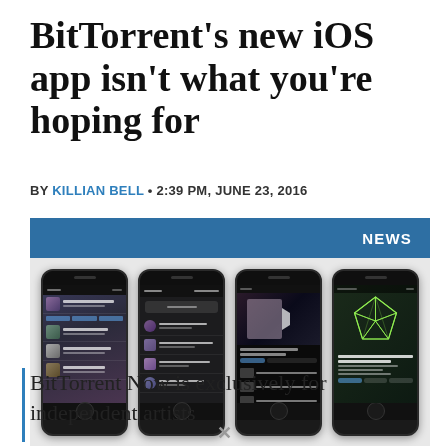BitTorrent's new iOS app isn't what you're hoping for
BY KILLIAN BELL • 2:39 PM, JUNE 23, 2016
[Figure (screenshot): Four iPhone screenshots of the BitTorrent Now app showing music lists, track lists, video player, and album art with a green geometric crystal graphic. A blue NEWS banner appears at the top right.]
BitTorrent Now is exclusively for independent artists